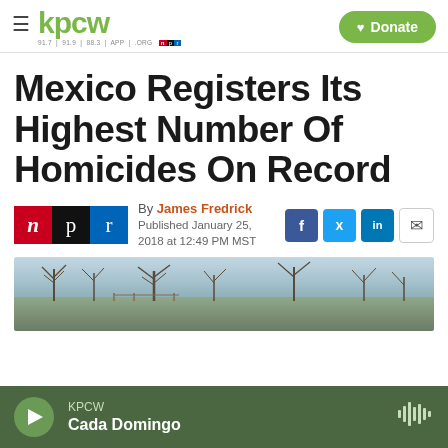kpcw — Donate
Mexico Registers Its Highest Number Of Homicides On Record
By James Fredrick
Published January 25, 2018 at 12:49 PM MST
[Figure (photo): Outdoor landscape photo showing bare trees and sparse vegetation in a rural or semi-arid setting]
KPCW — Cada Domingo (audio player bar)